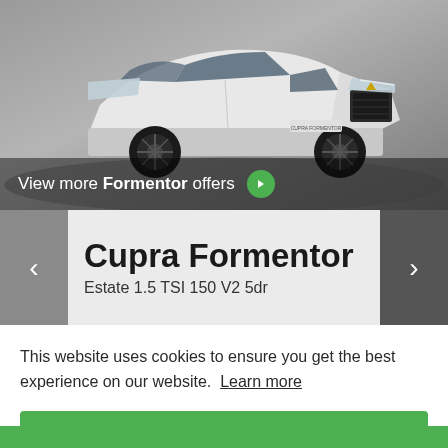[Figure (photo): White Cupra Formentor SUV parked in a grey studio/outdoor environment, front-three-quarter view. Car badge visible on grille. 'Cupra Formentor' text on licence plate area.]
View more Formentor offers →
Cupra Formentor
Estate 1.5 TSI 150 V2 5dr
This website uses cookies to ensure you get the best experience on our website.  Learn more
Got it!